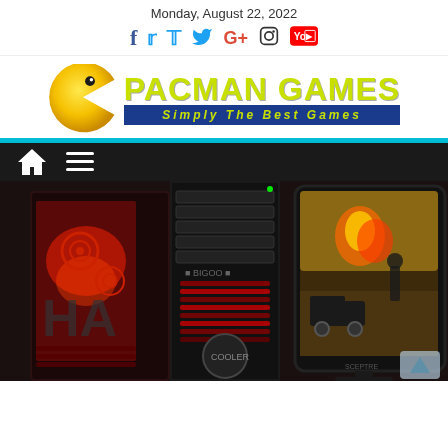Monday, August 22, 2022
[Figure (logo): Pacman Games website logo with Pac-Man character, yellow text 'PACMAN GAMES' and blue banner 'Simply The Best Games']
[Figure (screenshot): Website navigation bar with home icon and hamburger menu on dark background]
[Figure (photo): Gaming PC setup with red-lit tower cases, black server tower, and dark monitor displaying a game scene]